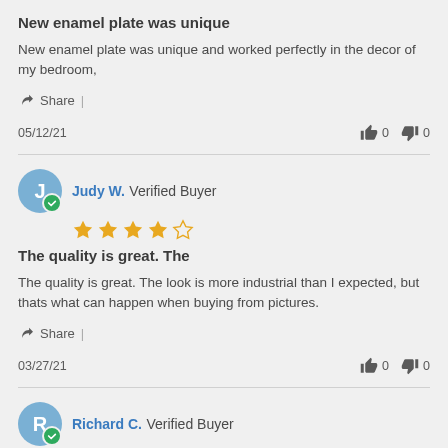New enamel plate was unique
New enamel plate was unique and worked perfectly in the decor of my bedroom,
Share  |
05/12/21    👍 0   👎 0
Judy W.  Verified Buyer
The quality is great. The
The quality is great. The look is more industrial than I expected, but thats what can happen when buying from pictures.
Share  |
03/27/21    👍 0   👎 0
Richard C.  Verified Buyer